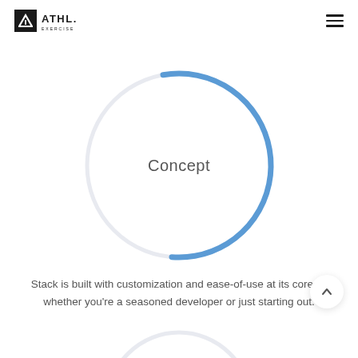ATHL. EXERCISE
[Figure (other): A donut/ring chart UI element showing approximately 60% completion with a blue arc on a light gray circle background. The word 'Concept' is centered inside the ring.]
Stack is built with customization and ease-of-use at its core — whether you're a seasoned developer or just starting out.
[Figure (other): Partial view of a second ring/donut chart at the bottom of the page, showing only the top portion with a blue arc visible.]